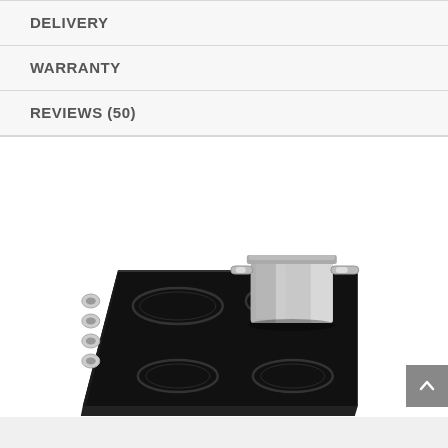DELIVERY
WARRANTY
REVIEWS (50)
[Figure (photo): Black electric cooktop / induction stove with four circular burner zones and chrome control knobs on the left side. A stainless steel pot with two handles is placed on the upper-right burner zone. The cooktop is photographed at an angle on a white background.]